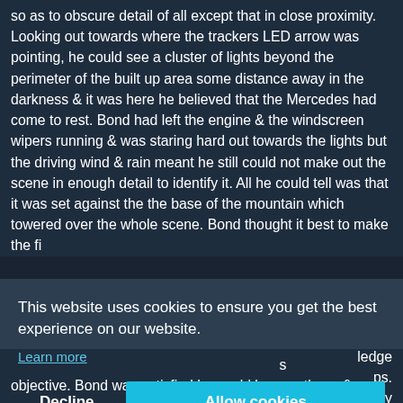so as to obscure detail of all except that in close proximity. Looking out towards where the trackers LED arrow was pointing, he could see a cluster of lights beyond the perimeter of the built up area some distance away in the darkness & it was here he believed that the Mercedes had come to rest. Bond had left the engine & the windscreen wipers running & was staring hard out towards the lights but the driving wind & rain meant he still could not make out the scene in enough detail to identify it. All he could tell was that it was set against the the base of the mountain which towered over the whole scene. Bond thought it best to make the fi...
n Der
e best
ntrast
ledge
ps.
ly
to
This website uses cookies to ensure you get the best experience on our website.
Learn more
Decline | Allow cookies
s objective. Bond was satisfied he could bypass these &